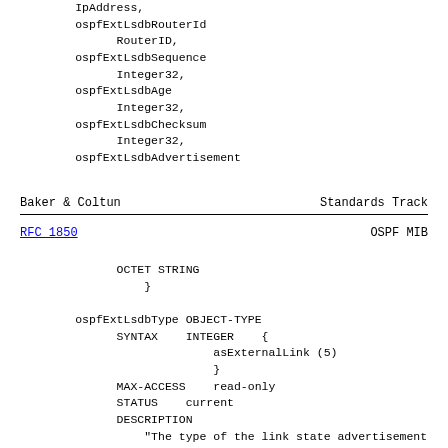IpAddress,
        ospfExtLsdbRouterId
              RouterID,
        ospfExtLsdbSequence
              Integer32,
        ospfExtLsdbAge
              Integer32,
        ospfExtLsdbChecksum
              Integer32,
        ospfExtLsdbAdvertisement
Baker & Coltun                          Standards Track
RFC 1850                                OSPF MIB
OCTET STRING
                  }

        ospfExtLsdbType OBJECT-TYPE
              SYNTAX    INTEGER    {
                            asExternalLink (5)
                            }
              MAX-ACCESS    read-only
              STATUS    current
              DESCRIPTION
                  "The type of the link state advertisement